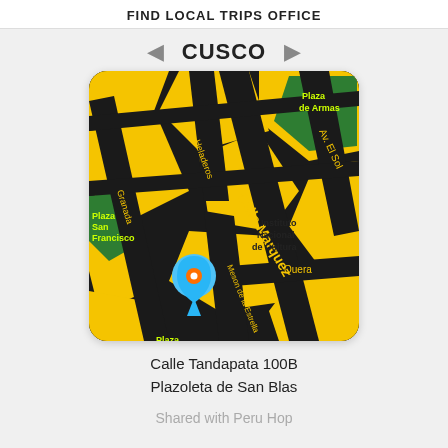FIND LOCAL TRIPS OFFICE
CUSCO
[Figure (map): Street map of Cusco showing Calle Marquez, Av. El Sol, Heladeros, Granada, Meson de la Estrella, Quera streets; landmarks include Plaza Regocijo, Plaza de Armas, Plaza San Francisco, Instituto Nacional de Cultura; a blue location pin marker is shown on the map]
Calle Tandapata 100B
Plazoleta de San Blas
Shared with Peru Hop